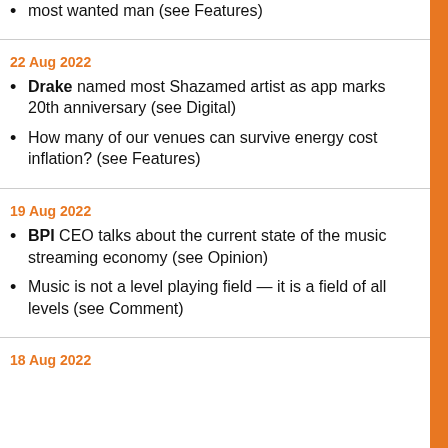most wanted man (see Features)
22 Aug 2022
Drake named most Shazamed artist as app marks 20th anniversary (see Digital)
How many of our venues can survive energy cost inflation? (see Features)
19 Aug 2022
BPI CEO talks about the current state of the music streaming economy (see Opinion)
Music is not a level playing field — it is a field of all levels (see Comment)
18 Aug 2022